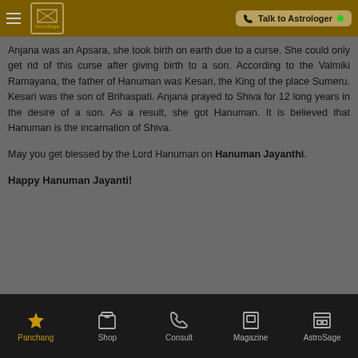AstroSage — Talk to Astrologer
Anjana was an Apsara, she took birth on earth due to a curse. She could only get rid of this curse after giving birth to a son. According to the Valmiki Ramayana, the father of Hanuman was Kesari, the King of the place Sumeru. Kesari was the son of Brihaspati. Anjana prayed to Shiva for 12 long years in the desire of a son. As a result, she got Hanuman. It is believed that Hanuman is the incarnation of Shiva.
May you get blessed by the Lord Hanuman on Hanuman Jayanthi.
Happy Hanuman Jayanti!
Panchang  Shop  Consult  Magazine  AstroSage